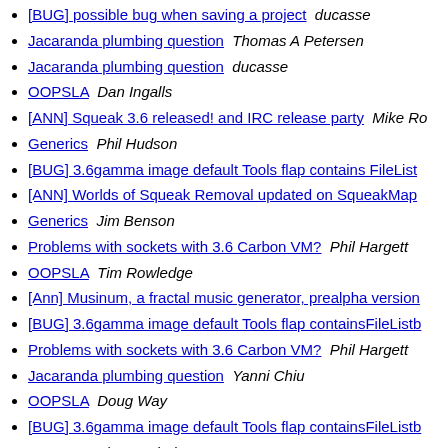[BUG] possible bug when saving a project   ducasse
Jacaranda plumbing question   Thomas A Petersen
Jacaranda plumbing question   ducasse
OOPSLA   Dan Ingalls
[ANN] Squeak 3.6 released! and IRC release party   Mike Ro
Generics   Phil Hudson
[BUG] 3.6gamma image default Tools flap contains FileList
[ANN] Worlds of Squeak Removal updated on SqueakMap
Generics   Jim Benson
Problems with sockets with 3.6 Carbon VM?   Phil Hargett
OOPSLA   Tim Rowledge
[Ann] Musinum, a fractal music generator, prealpha version
[BUG] 3.6gamma image default Tools flap containsFileListb
Problems with sockets with 3.6 Carbon VM?   Phil Hargett
Jacaranda plumbing question   Yanni Chiu
OOPSLA   Doug Way
[BUG] 3.6gamma image default Tools flap containsFileListb
OOPSLA   Tim Rowledge
Problems with sockets with 3.6 Carbon VM?   John M McIn
Amsterdam - Squeak book   Michael van der Gulik
[FIX] findStringFix ([et][sm][er] Unfortunately this didn't m though. [approved].)   goran.krampe at bluefish.se
[ENH] DebugCreateMethods-nk ([et])   marcus at ira.uka.a
Profiling my test suite   Giovanni Corriga
AW: [ANN] Squeak 3.6 released! and IRC release party   To